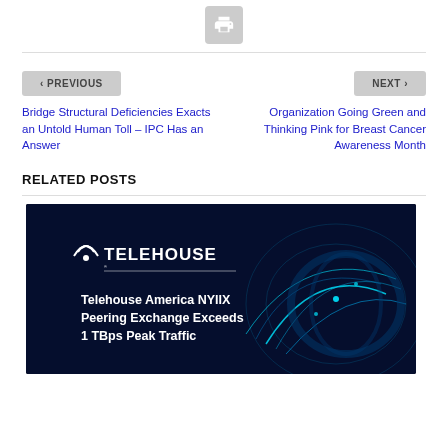[Figure (other): Print button icon (printer symbol on grey rounded square background)]
< PREVIOUS
NEXT >
Bridge Structural Deficiencies Exacts an Untold Human Toll – IPC Has an Answer
Organization Going Green and Thinking Pink for Breast Cancer Awareness Month
RELATED POSTS
[Figure (photo): Telehouse America NYIIX Peering Exchange Exceeds 1 TBps Peak Traffic - dark blue background with glowing teal network globe graphic and Telehouse logo]